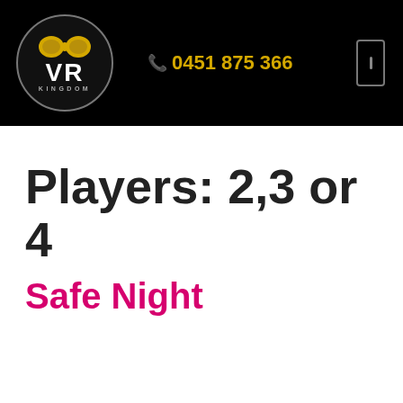[Figure (logo): VR Kingdom logo — circular black badge with yellow VR goggles icon, white 'VR' text, and grey 'KINGDOM' text below]
📞 0451 875 366
Players: 2,3 or 4
Safe Night